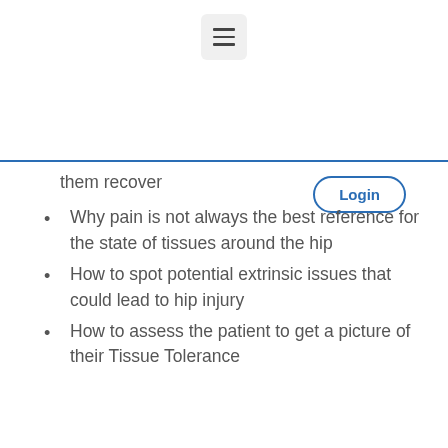☰ [hamburger menu button]
Login
them recover
Why pain is not always the best reference for the state of tissues around the hip
How to spot potential extrinsic issues that could lead to hip injury
How to assess the patient to get a picture of their Tissue Tolerance